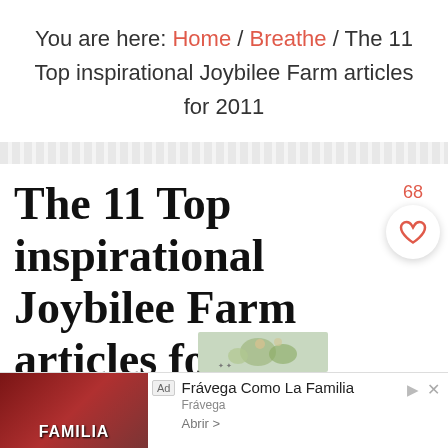You are here: Home / Breathe / The 11 Top inspirational Joybilee Farm articles for 2011
The 11 Top inspirational Joybilee Farm articles for 2011
68
BY JOYBILEE FARM 1 COMMENT
[Figure (screenshot): Advertisement banner: Frávega Como La Familia with family photo]
[Figure (photo): Partial image peeking above the advertisement]